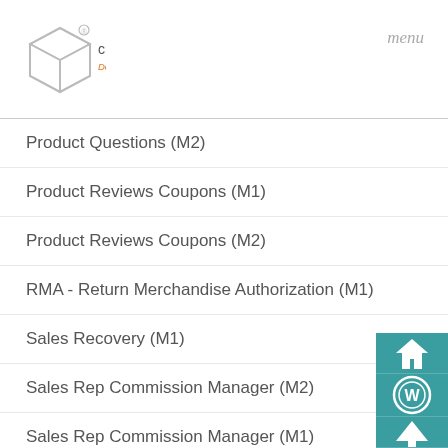[Figure (logo): CreativeMinds Documentation logo with cube icon and brand name]
menu
Product Questions (M2)
Product Reviews Coupons (M1)
Product Reviews Coupons (M2)
RMA - Return Merchandise Authorization (M1)
Sales Recovery (M1)
Sales Rep Commission Manager (M2)
Sales Rep Commission Manager (M1)
[Figure (infographic): Teal sidebar with home icon, WordPress icon, up arrow icon, and close (X) icon]
🔔 Get the best selling WordPress Tooltip Glossary Plugin for FREE. Download Plugin Zip file Now! 🔔